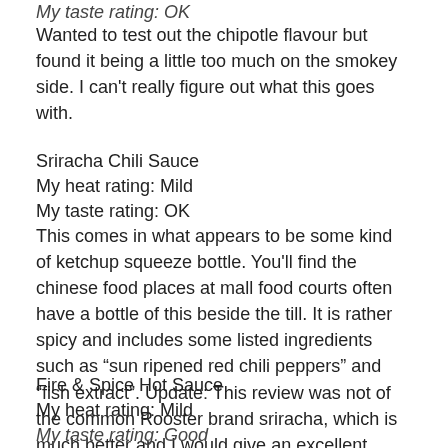My taste rating: OK
Wanted to test out the chipotle flavour but found it being a little too much on the smokey side. I can't really figure out what this goes with.
Sriracha Chili Sauce
My heat rating: Mild
My taste rating: OK
This comes in what appears to be some kind of ketchup squeeze bottle. You'll find the chinese food places at mall food courts often have a bottle of this beside the till. It is rather spicy and includes some listed ingredients such as “sun ripened red chili peppers” and “fish extract”. Update: This review was not of the common Rooster brand sriracha, which is much better and I would give an excellent rating for.
Fire & Spice Hot Sauce
My heat rating: Mild
My taste rating: Good